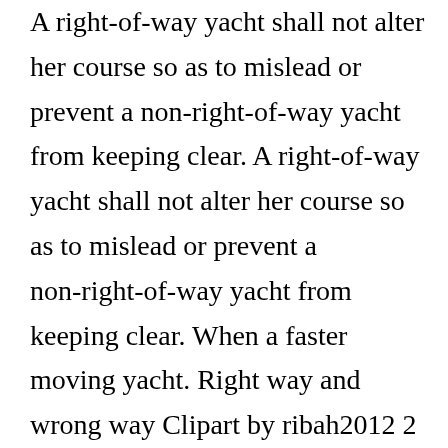A right-of-way yacht shall not alter her course so as to mislead or prevent a non-right-of-way yacht from keeping clear. A right-of-way yacht shall not alter her course so as to mislead or prevent a non-right-of-way yacht from keeping clear. When a faster moving yacht. Right way and wrong way Clipart by ribah2012 2 25 right and wrong way Drawings by tiero 3 21 right choice Stock Illustration by lexaarts 2 5 You and I Win We All Are Winners - 3 Way Street Sign Stock IllustratioⓍ; by iqoncept 25 969